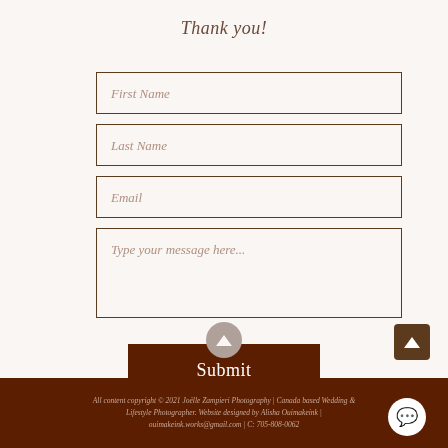Thank you!
[Figure (screenshot): Contact form with fields: First Name, Last Name, Email, and a text area labeled 'Type your message here...']
Submit
[Figure (other): Scroll-up circular button with upward triangle icon]
[Figure (other): Dark brown square button with upward triangle arrow icon]
All content copyright © 2021 Joëlle Zampieri Photography | Canada based Wedding & Lifestyle Photographer. Website designed by Alisha Ouimakeink | ouimakeink.works@gmail.com | C: 705-808-0062